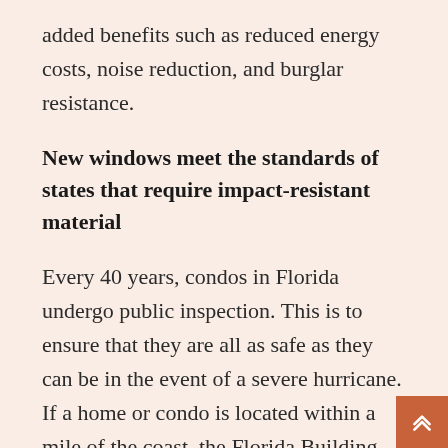added benefits such as reduced energy costs, noise reduction, and burglar resistance.
New windows meet the standards of states that require impact-resistant material
Every 40 years, condos in Florida undergo public inspection. This is to ensure that they are all as safe as they can be in the event of a severe hurricane. If a home or condo is located within a mile of the coast, the Florida Building Code, or FBC, requires impact-resistant materials to be used. In these locations, the winds can routinely get up to 110 mph during a hurricane.